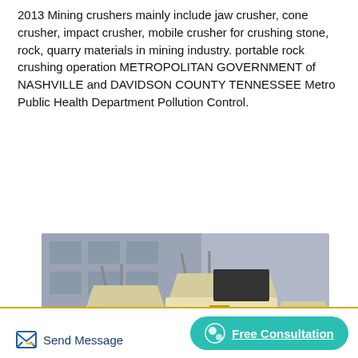2013 Mining crushers mainly include jaw crusher, cone crusher, impact crusher, mobile crusher for crushing stone, rock, quarry materials in mining industry. portable rock crushing operation METROPOLITAN GOVERNMENT of NASHVILLE and DAVIDSON COUNTY TENNESSEE Metro Public Health Department Pollution Control.
[Figure (photo): Photograph of multiple impact/cone mining crushers (cream/yellow colored machines with red wheel accents) parked in an industrial yard in front of a large grey building.]